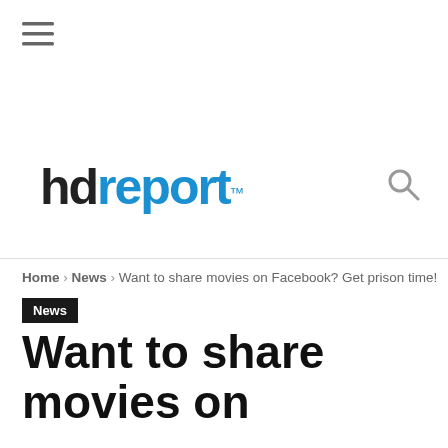[Figure (logo): Hamburger menu icon (three horizontal lines)]
[Figure (logo): hdreport logo with hd in dark/black and report in blue, with trademark symbol, and a search (magnifying glass) icon to the right]
Home › News › Want to share movies on Facebook? Get prison time!
News
Want to share movies on